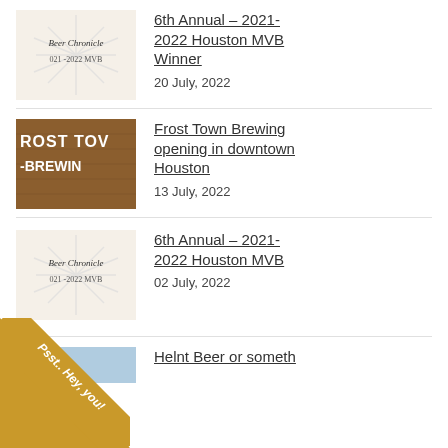[Figure (photo): Beer Chronicle 2021-2022 MVB thumbnail image - cream colored with sunburst watermark and blackletter text]
6th Annual – 2021-2022 Houston MVB Winner
20 July, 2022
[Figure (photo): Frost Town Brewing sign on brick wall - wooden sign with white text reading FROST TOWN BREWING]
Frost Town Brewing opening in downtown Houston
13 July, 2022
[Figure (photo): Beer Chronicle 2021-2022 MVB thumbnail image - same as first]
6th Annual – 2021-2022 Houston MVB
02 July, 2022
[Figure (illustration): Gold diagonal ribbon banner in bottom-left corner with italic text reading Psst.. Hey, you!]
[Figure (photo): Partial fourth article thumbnail - partially visible at bottom of page]